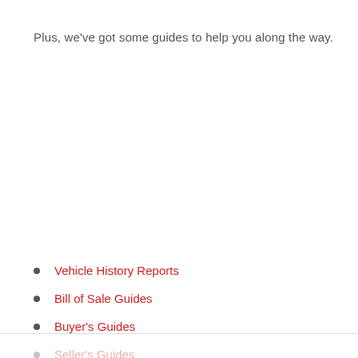Plus, we've got some guides to help you along the way.
Vehicle History Reports
Bill of Sale Guides
Buyer's Guides
Seller's Guides